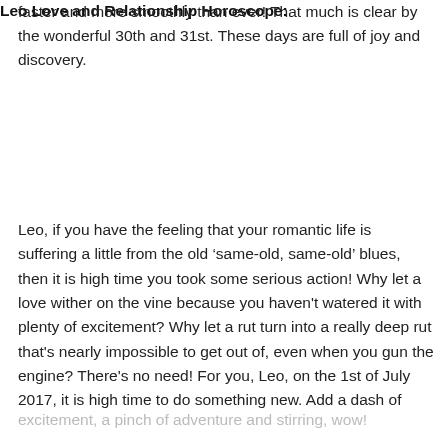faster and more smoothly than ever! That much is clear by the wonderful 30th and 31st. These days are full of joy and discovery.
Leo Love and Relationship Horoscope:
Leo, if you have the feeling that your romantic life is suffering a little from the old ‘same-old, same-old’ blues, then it is high time you took some serious action! Why let a love wither on the vine because you haven't watered it with plenty of excitement? Why let a rut turn into a really deep rut that's nearly impossible to get out of, even when you gun the engine? There's no need! For you, Leo, on the 1st of July 2017, it is high time to do something new. Add a dash of
excitement, a pinch of adventure and stirring, wow!